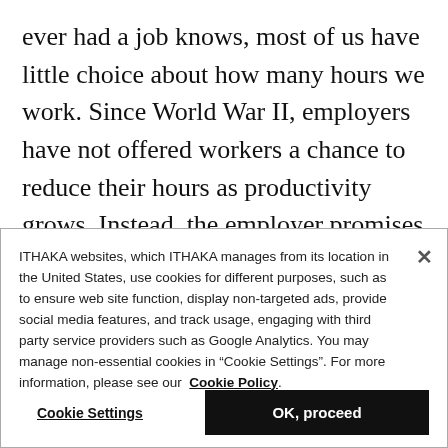ever had a job knows, most of us have little choice about how many hours we work. Since World War II, employers have not offered workers a chance to reduce their hours as productivity grows. Instead, the employer promises higher pay.
ITHAKA websites, which ITHAKA manages from its location in the United States, use cookies for different purposes, such as to ensure web site function, display non-targeted ads, provide social media features, and track usage, engaging with third party service providers such as Google Analytics. You may manage non-essential cookies in “Cookie Settings”. For more information, please see our Cookie Policy.
Cookie Settings
OK, proceed